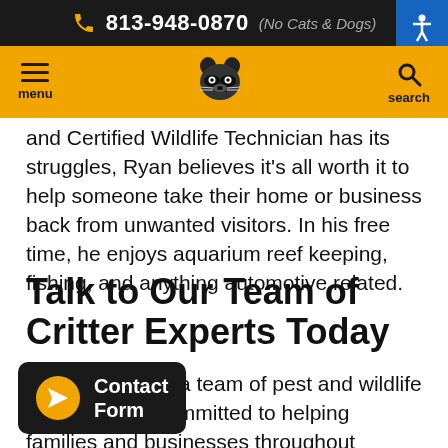813-948-0870 (No Cats & Dogs)
[Figure (screenshot): Website navigation bar with hamburger menu, raccoon logo, and search button on yellow background]
and Certified Wildlife Technician has its struggles, Ryan believes it's all worth it to help someone take their home or business back from unwanted visitors. In his free time, he enjoys aquarium reef keeping, fishing, and anything automotive related.
Talk to Our Team of Critter Experts Today
When you need a team of pest and wildlife professionals committed to helping families and businesses throughout Greater Tampa and Greater O... no further than Critter Control of Tampa. No matter what kind of pest or wildlife issue you're dealing with, it's our mission to help you...